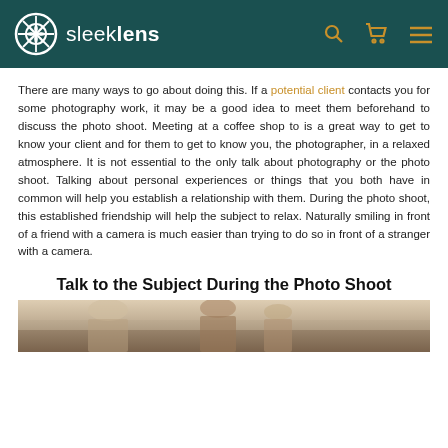sleeklens
There are many ways to go about doing this. If a potential client contacts you for some photography work, it may be a good idea to meet them beforehand to discuss the photo shoot. Meeting at a coffee shop to is a great way to get to know your client and for them to get to know you, the photographer, in a relaxed atmosphere. It is not essential to the only talk about photography or the photo shoot. Talking about personal experiences or things that you both have in common will help you establish a relationship with them. During the photo shoot, this established friendship will help the subject to relax. Naturally smiling in front of a friend with a camera is much easier than trying to do so in front of a stranger with a camera.
Talk to the Subject During the Photo Shoot
[Figure (photo): Partial view of a photography session, showing people in light clothing]